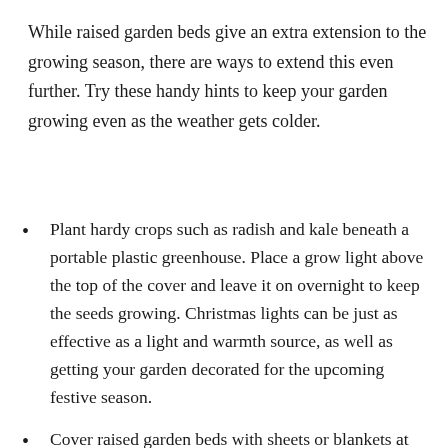While raised garden beds give an extra extension to the growing season, there are ways to extend this even further. Try these handy hints to keep your garden growing even as the weather gets colder.
Plant hardy crops such as radish and kale beneath a portable plastic greenhouse. Place a grow light above the top of the cover and leave it on overnight to keep the seeds growing. Christmas lights can be just as effective as a light and warmth source, as well as getting your garden decorated for the upcoming festive season.
Cover raised garden beds with sheets or blankets at night to trap in the heat that accumulates through the day. As soon as the sun is shining, take the covers away.